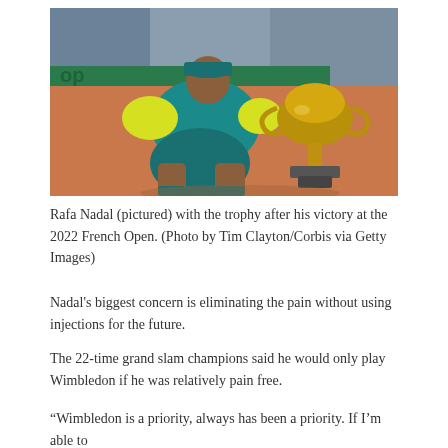[Figure (photo): Rafa Nadal sitting on a clay court in teal and yellow outfit, leaning over the French Open trophy (a large ornate gold cup on a dark base), with crowd visible in background.]
Rafa Nadal (pictured) with the trophy after his victory at the 2022 French Open. (Photo by Tim Clayton/Corbis via Getty Images)
Nadal's biggest concern is eliminating the pain without using injections for the future.
The 22-time grand slam champions said he would only play Wimbledon if he was relatively pain free.
“Wimbledon is a priority, always has been a priority. If I’m able to